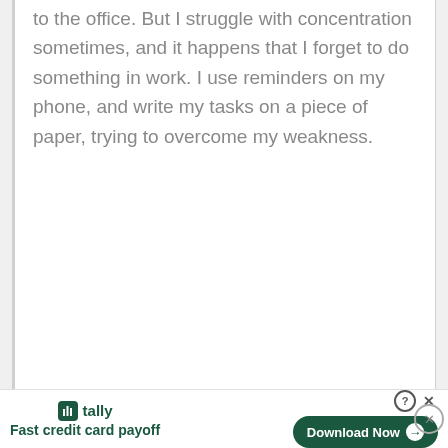to the office. But I struggle with concentration sometimes, and it happens that I forget to do something in work. I use reminders on my phone, and write my tasks on a piece of paper, trying to overcome my weakness.
tally Fast credit card payoff  Download Now →  ⓧ